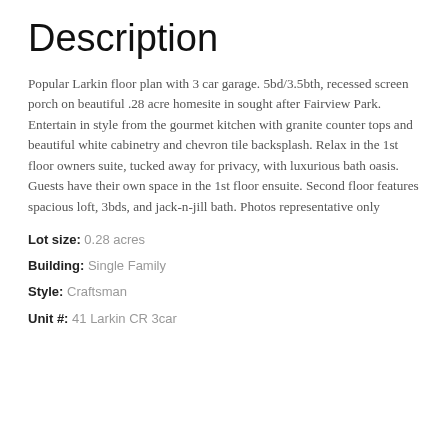Description
Popular Larkin floor plan with 3 car garage. 5bd/3.5bth, recessed screen porch on beautiful .28 acre homesite in sought after Fairview Park. Entertain in style from the gourmet kitchen with granite counter tops and beautiful white cabinetry and chevron tile backsplash. Relax in the 1st floor owners suite, tucked away for privacy, with luxurious bath oasis. Guests have their own space in the 1st floor ensuite. Second floor features spacious loft, 3bds, and jack-n-jill bath. Photos representative only
Lot size: 0.28 acres
Building: Single Family
Style: Craftsman
Unit #: 41 Larkin CR 3car